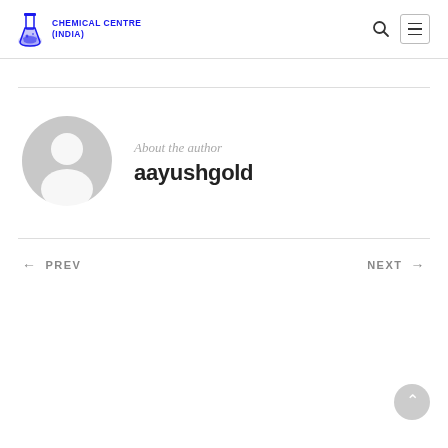CHEMICAL CENTRE (INDIA)
[Figure (logo): Chemical Centre India logo with flask icon and text in blue]
About the author
aayushgold
← PREV
NEXT →